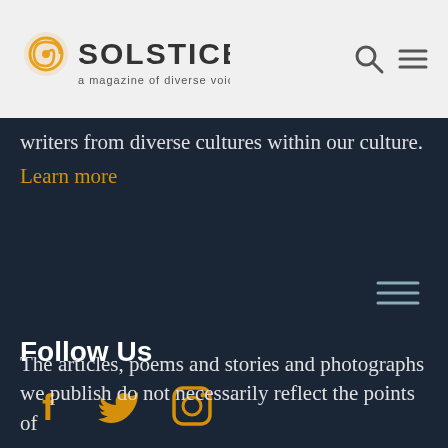[Figure (logo): Solstice magazine logo with spiral sun icon and tagline 'a magazine of diverse voices']
writers from diverse cultures within our culture.
Learn more
[Figure (other): Hamburger menu icon (three horizontal lines) on dark background]
Follow Us
[Figure (other): Social media icons: Facebook (f), Twitter (bird), Instagram (camera)]
The articles, poems and stories and photographs we publish do not necessarily reflect the points of